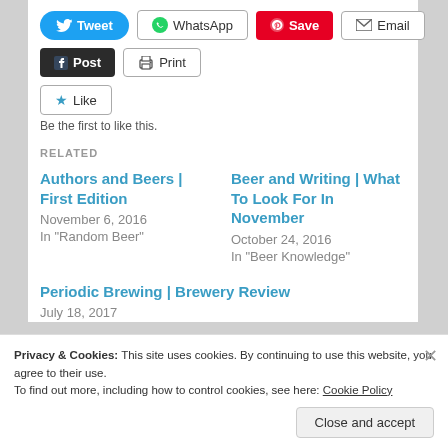[Figure (screenshot): Social sharing buttons: Tweet, WhatsApp, Save, Email, Post, Print, Like]
Be the first to like this.
RELATED
Authors and Beers | First Edition
November 6, 2016
In "Random Beer"
Beer and Writing | What To Look For In November
October 24, 2016
In "Beer Knowledge"
Periodic Brewing | Brewery Review
July 18, 2017
Privacy & Cookies: This site uses cookies. By continuing to use this website, you agree to their use.
To find out more, including how to control cookies, see here: Cookie Policy